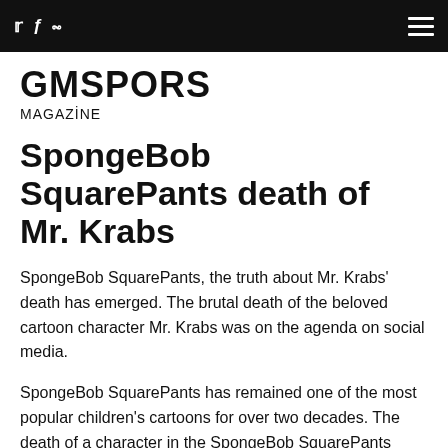GMSPORS MAGAZİNE [social icons: Twitter, Facebook, Pinterest] [hamburger menu]
GMSPORS
MAGAZİNE
SpongeBob SquarePants death of Mr. Krabs
SpongeBob SquarePants, the truth about Mr. Krabs' death has emerged. The brutal death of the beloved cartoon character Mr. Krabs was on the agenda on social media.
SpongeBob SquarePants has remained one of the most popular children's cartoons for over two decades. The death of a character in the SpongeBob SquarePants cartoon, which was watched by children and even